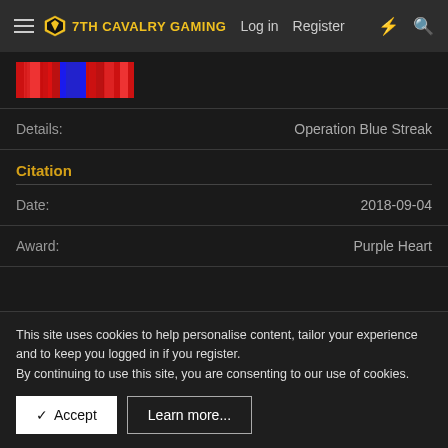7TH CAVALRY GAMING  Log in  Register
[Figure (illustration): Military ribbon with red and blue stripes]
Details:  Operation Blue Streak
Citation
Date:  2018-09-04
Award:  Purple Heart
This site uses cookies to help personalise content, tailor your experience and to keep you logged in if you register.
By continuing to use this site, you are consenting to our use of cookies.